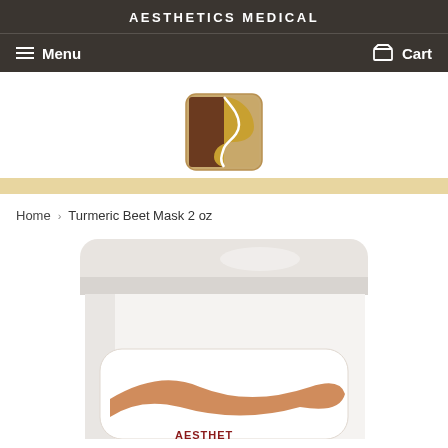AESTHETICS MEDICAL
Menu  Cart
[Figure (logo): Aesthetics Medical logo — square with rounded corners, brown and gold stylized S-curve on tan background]
Home > Turmeric Beet Mask 2 oz
[Figure (photo): Top portion of a white jar with label reading AESTHETICS MEDICAL, showing lid and upper body of the Turmeric Beet Mask product container]